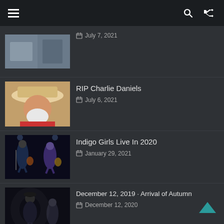Navigation bar with menu, search, and shuffle icons
July 7, 2021
RIP Charlie Daniels — July 6, 2021
Indigo Girls Live In 2020 — January 29, 2021
December 12, 2019 · Arrival of Autumn — December 12, 2020
Happy Birthday Billy Idol